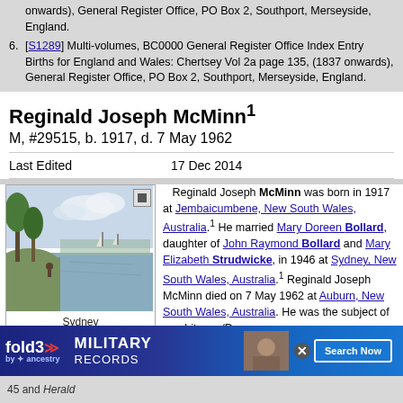onwards), General Register Office, PO Box 2, Southport, Merseyside, England.
[S1289] Multi-volumes, BC0000 General Register Office Index Entry Births for England and Wales: Chertsey Vol 2a page 135, (1837 onwards), General Register Office, PO Box 2, Southport, Merseyside, England.
Reginald Joseph McMinn
M, #29515, b. 1917, d. 7 May 1962
Last Edited    17 Dec 2014
[Figure (photo): Landscape painting of Sydney, New South Wales, Australia showing trees and water]
Sydney
New South Wales
Australia
Reginald Joseph McMinn was born in 1917 at Jembaicumbene, New South Wales, Australia. He married Mary Doreen Bollard, daughter of John Raymond Bollard and Mary Elizabeth Strudwicke, in 1946 at Sydney, New South Wales, Australia. Reginald Joseph McMinn died on 7 May 1962 at Auburn, New South Wales, Australia. He was the subject of an obituary /De...